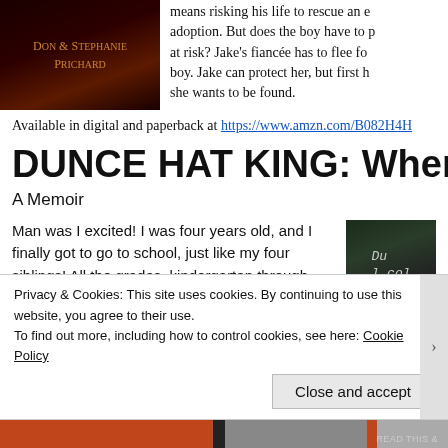[Figure (photo): Book cover with dark red background showing 'Don & Stephanie Prichard' in gold/orange small-caps text]
means risking his life to rescue an e adoption. But does the boy have to at risk? Jake's fiancée has to flee fo boy. Jake can protect her, but first h she wants to be found.
Available in digital and paperback at https://www.amzn.com/B082H4H...
DUNCE HAT KING: When Life is P...
A Memoir
Man was I excited! I was four years old, and I finally got to go to school, just like my four siblings! All the grades, kindergarten through eighth, were together in the same room, and we shared the same teacher.
[Figure (photo): Thumbnail image of Dunce Hat King book cover showing chalked text on dark background]
Privacy & Cookies: This site uses cookies. By continuing to use this website, you agree to their use.
To find out more, including how to control cookies, see here: Cookie Policy
Close and accept